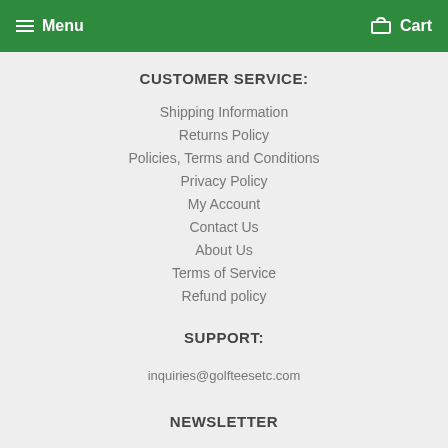Menu  Cart
CUSTOMER SERVICE:
Shipping Information
Returns Policy
Policies, Terms and Conditions
Privacy Policy
My Account
Contact Us
About Us
Terms of Service
Refund policy
SUPPORT:
inquiries@golfteesetc.com
NEWSLETTER